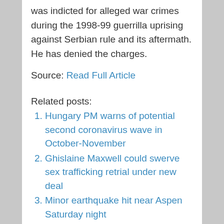was indicted for alleged war crimes during the 1998-99 guerrilla uprising against Serbian rule and its aftermath. He has denied the charges.
Source: Read Full Article
Related posts:
Hungary PM warns of potential second coronavirus wave in October-November
Ghislaine Maxwell could swerve sex trafficking retrial under new deal
Minor earthquake hit near Aspen Saturday night